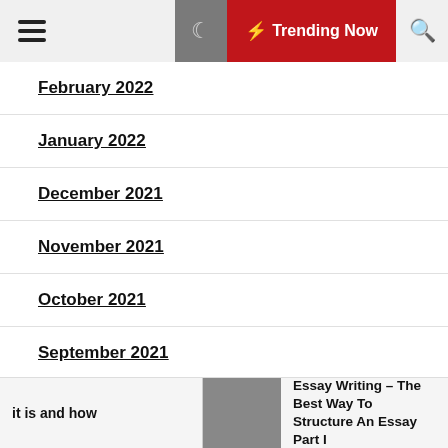Trending Now
February 2022
January 2022
December 2021
November 2021
October 2021
September 2021
August 2021
it is and how | Essay Writing – The Best Way To Structure An Essay Part I